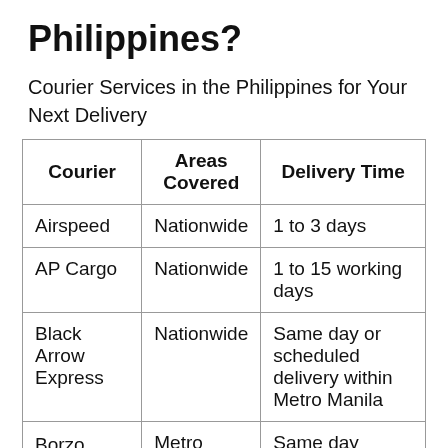Philippines?
Courier Services in the Philippines for Your Next Delivery
| Courier | Areas Covered | Delivery Time |
| --- | --- | --- |
| Airspeed | Nationwide | 1 to 3 days |
| AP Cargo | Nationwide | 1 to 15 working days |
| Black Arrow Express | Nationwide | Same day or scheduled delivery within Metro Manila |
| Borzo | Metro … | Same day … |